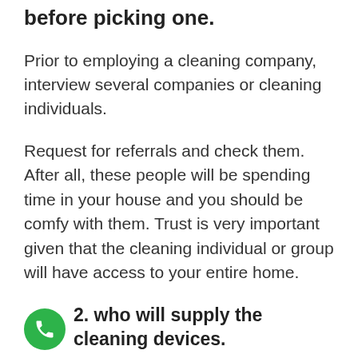before picking one.
Prior to employing a cleaning company, interview several companies or cleaning individuals.
Request for referrals and check them. After all, these people will be spending time in your house and you should be comfy with them. Trust is very important given that the cleaning individual or group will have access to your entire home.
2. who will supply the cleaning devices.
some text continues below...